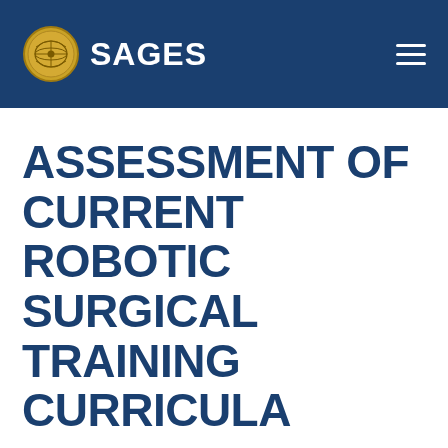SAGES
ASSESSMENT OF CURRENT ROBOTIC SURGICAL TRAINING CURRICULA
Jorge G Zarate Rodriguez, MD, William D Gerull, Michael M Awad, MD, PhD, Washington